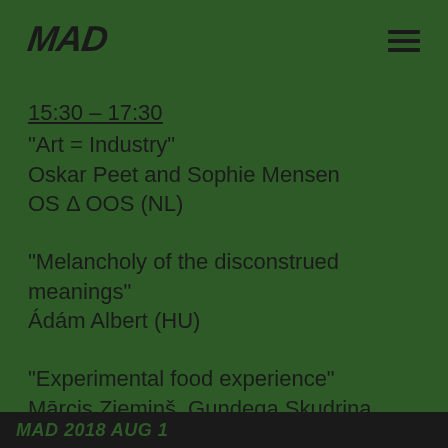MAD
15:30 – 17:30
"Art = Industry"
Oskar Peet and Sophie Mensen
OS Δ OOS (NL)
"Melancholy of the disconstrued meanings"
Ádám Albert (HU)
"Experimental food experience"
Mārcis Ziemiņš, Gundega Skudriņa
UNTAMEDDINER (LV)
MAD 2018 AUG 1